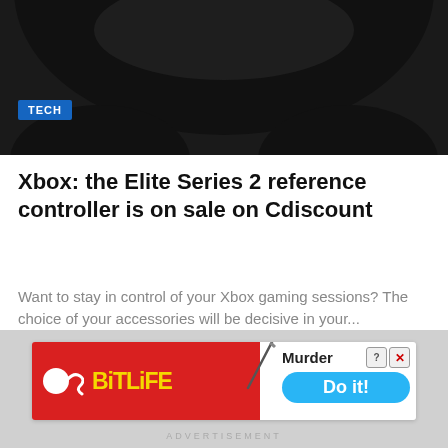[Figure (photo): Top portion of a black Xbox Elite Series 2 controller on dark background, with a blue TECH badge overlay in the lower left]
Xbox: the Elite Series 2 reference controller is on sale on Cdiscount
Want to stay in control of your Xbox gaming sessions? The choice of your accessories will be decisive in your...
26 DE AUGUST DE 2022
[Figure (screenshot): BitLife mobile game advertisement banner showing red background with BitLife logo, sperm icon, and 'Murder Do it!' call to action button]
ADVERTISEMENT